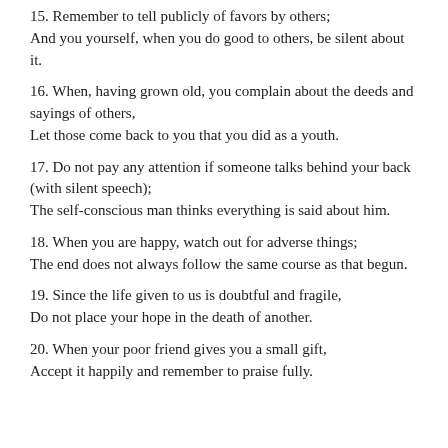15. Remember to tell publicly of favors by others;
And you yourself, when you do good to others, be silent about it.
16. When, having grown old, you complain about the deeds and sayings of others,
Let those come back to you that you did as a youth.
17. Do not pay any attention if someone talks behind your back (with silent speech);
The self-conscious man thinks everything is said about him.
18. When you are happy, watch out for adverse things;
The end does not always follow the same course as that begun.
19. Since the life given to us is doubtful and fragile,
Do not place your hope in the death of another.
20. When your poor friend gives you a small gift,
Accept it happily and remember to praise fully.